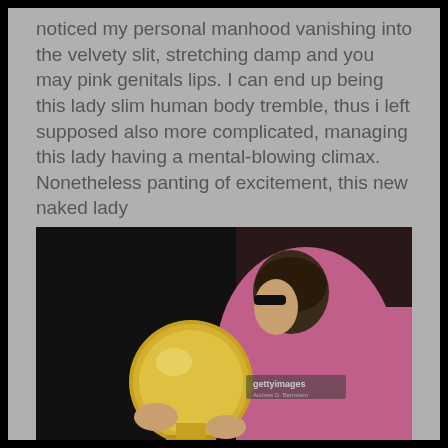noticed my personal manhood vanishing into the velvety slit, stretching damp and you may pink genitals lips. I can end up being this lady slim human body tremble, thus i left supposed also more complicated, managing this lady having a mental-blowing climax. Nonetheless panting of excitement, this new naked lady
[Figure (photo): A man in a pink shirt leaning over a large gold NBA championship trophy ball, photographed in profile against a dark background. Getty Images watermark visible.]
took my personal dong into the girl mouth and you can drawn it, experiencing the latest mixture of pussy fruit juice and precum. We emptied my personal weight